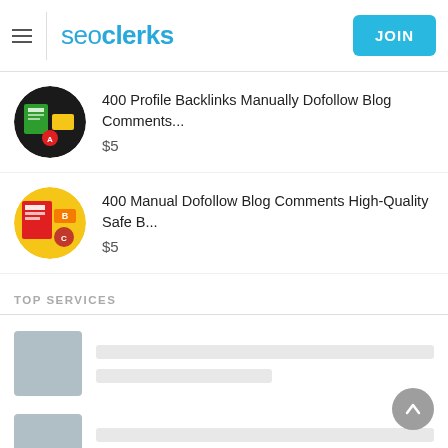seoclerks — JOIN
400 Profile Backlinks Manually Dofollow Blog Comments... $5
400 Manual Dofollow Blog Comments High-Quality Safe B... $5
TOP SERVICES
[Figure (screenshot): Loading skeleton placeholders for top services listings — three rows of gray placeholder thumbnail boxes with gray loading bars]
[Figure (infographic): Scroll-to-top circular button with upward arrow]